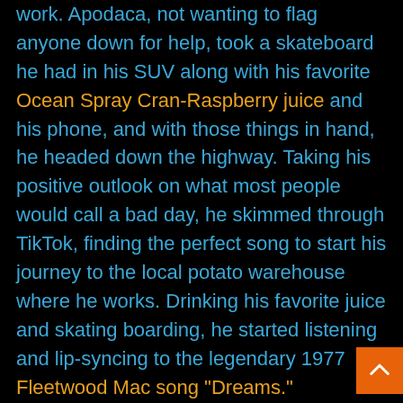work. Apodaca, not wanting to flag anyone down for help, took a skateboard he had in his SUV along with his favorite Ocean Spray Cran-Raspberry juice and his phone, and with those things in hand, he headed down the highway. Taking his positive outlook on what most people would call a bad day, he skimmed through TikTok, finding the perfect song to start his journey to the local potato warehouse where he works. Drinking his favorite juice and skating boarding, he started listening and lip-syncing to the legendary 1977 Fleetwood Mac song “Dreams.”

Apodaca had no idea that after uploading his video, it would go viral in hours and eventually be viewed 60 million times to date. Not only was he surprised, but Fleetwood Mac was blown away.